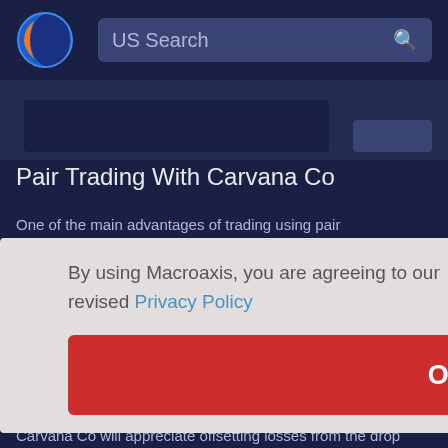[Figure (logo): Macroaxis globe logo — blue circle with orange crescent]
US Search
Pair Trading With Carvana Co
One of the main advantages of trading using pair
By using Macroaxis, you are agreeing to our revised Privacy Policy
OK
sk.
d,
the
rading
e
rops
in
Carvana Co will appreciate offsetting losses from the drop